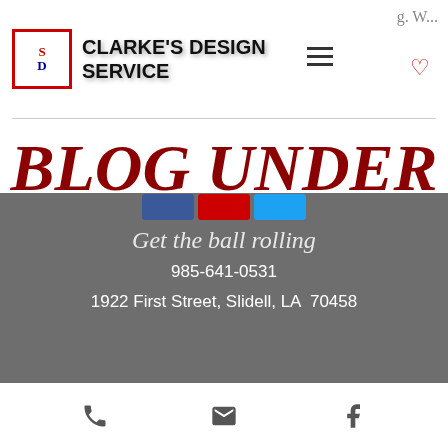CLARKE'S DESIGN SERVICE
BLOG UNDER CONSTRUCTION
Get the ball rolling
985-641-0531
1922 First Street, Slidell, LA  70458
phone, email, facebook icons